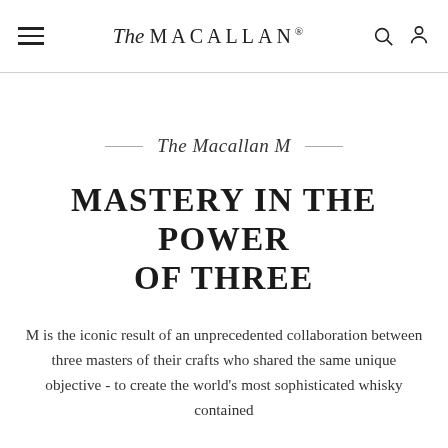The Macallan® — navigation bar with hamburger menu, logo, search and account icons
The Macallan M
MASTERY IN THE POWER OF THREE
M is the iconic result of an unprecedented collaboration between three masters of their crafts who shared the same unique objective - to create the world's most sophisticated whisky contained